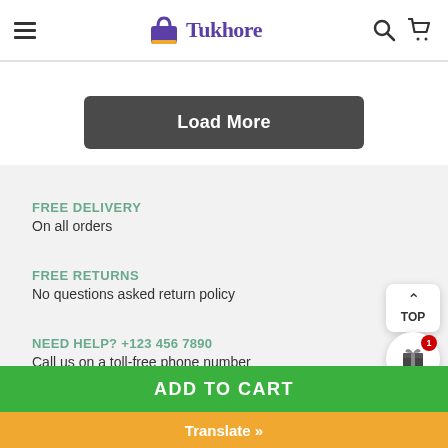Tukhore - navigation header with hamburger menu, logo, search and cart icons
Load More
FREE DELIVERY
On all orders
FREE RETURNS
No questions asked return policy
NEED HELP? +123 456 7890
Call us on a toll-free phone number
ADD TO CART
Translate »